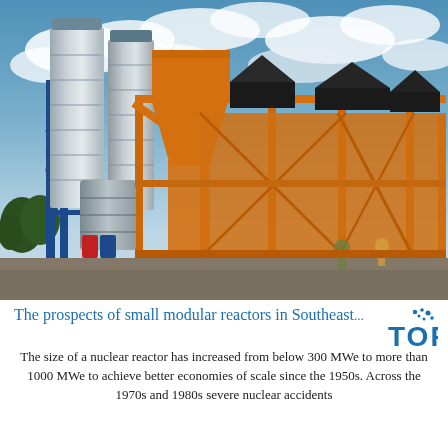[Figure (photo): Industrial concrete batching plant with two tall cylindrical silos (silver/grey), a large orange steel-framed structure with hopper and conveyor, set outdoors against a cloudy blue sky with trees visible on the left.]
The prospects of small modular reactors in Southeast...
The size of a nuclear reactor has increased from below 300 MWe to more than 1000 MWe to achieve better economies of scale since the 1950s. Across the 1970s and 1980s severe nuclear accidents